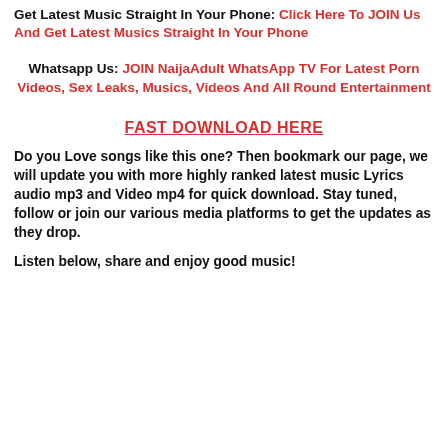Get Latest Music Straight In Your Phone: Click Here To JOIN Us And Get Latest Musics Straight In Your Phone
Whatsapp Us: JOIN NaijaAdult WhatsApp TV For Latest Porn Videos, Sex Leaks, Musics, Videos And All Round Entertainment
FAST DOWNLOAD HERE
Do you Love songs like this one? Then bookmark our page, we will update you with more highly ranked latest music Lyrics audio mp3 and Video mp4 for quick download. Stay tuned, follow or join our various media platforms to get the updates as they drop.
Listen below, share and enjoy good music!